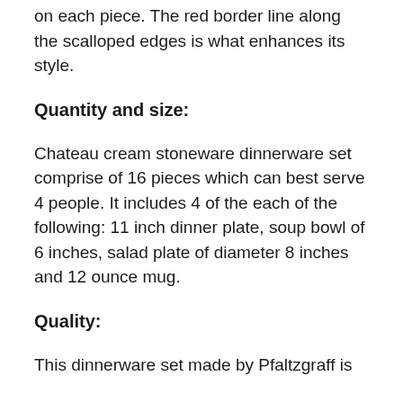on each piece. The red border line along the scalloped edges is what enhances its style.
Quantity and size:
Chateau cream stoneware dinnerware set comprise of 16 pieces which can best serve 4 people. It includes 4 of the each of the following: 11 inch dinner plate, soup bowl of 6 inches, salad plate of diameter 8 inches and 12 ounce mug.
Quality:
This dinnerware set made by Pfaltzgraff is